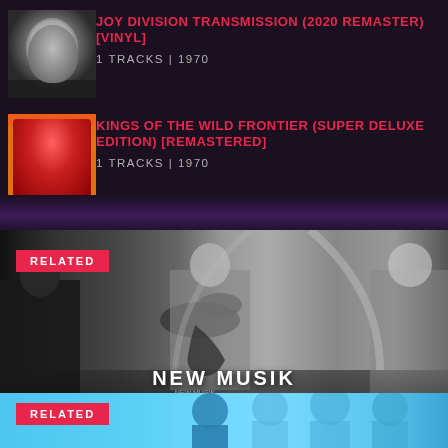[Figure (photo): Album thumbnail for Joy Division - black and white portrait of a man's face]
JOY DIVISION TRANSMISSION (2020 REMASTER) [VINYL]
1 TRACKS | 1970
[Figure (photo): Album thumbnail for Kings of the Wild Frontier - colorful illustrated cover with face paint]
KINGS OF THE WILD FRONTIER (SUPER DELUXE EDITION) [REMASTERED]
1 TRACKS | 1970
[Figure (photo): Black and white concert photo of a band performing on stage, labeled NEW MUSIK, with RELATED badge]
[Figure (photo): Blue-tinted photo of a group of people, partially visible, with RELATED badge]